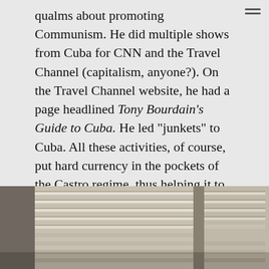qualms about promoting Communism. He did multiple shows from Cuba for CNN and the Travel Channel (capitalism, anyone?). On the Travel Channel website, he had a page headlined Tony Bourdain's Guide to Cuba. He led "junkets" to Cuba. All these activities, of course, put hard currency in the pockets of the Castro regime, thus helping it to hang on to life – and to continue to harass, jail, beat, torture, and execute political "enemies," gays, and others. As Fontova noted, Bourdain concluded one 2011 Cuba program by telling the audience: "Yes, Go to Cuba!"
[Figure (photo): Photograph of metal venetian blinds or window louvers, partially open, with light coming through the slats. Metallic silver/grey tones with a column divider visible in the center.]